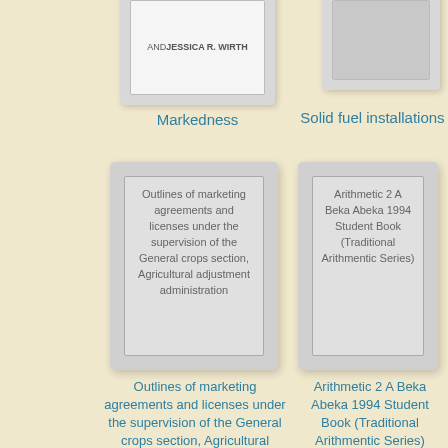[Figure (illustration): Book cover showing author name AND JESSICA R. WIRTH]
Markedness
[Figure (illustration): Book cover placeholder gray]
Solid fuel installations
[Figure (illustration): Book cover showing text: Outlines of marketing agreements and licenses under the supervision of the General crops section, Agricultural adjustment administration]
Outlines of marketing agreements and licenses under the supervision of the General crops section, Agricultural adjustment administration
[Figure (illustration): Book cover showing text: Arithmetic 2 A Beka Abeka 1994 Student Book (Traditional Arithmentic Series)]
Arithmetic 2 A Beka Abeka 1994 Student Book (Traditional Arithmentic Series)